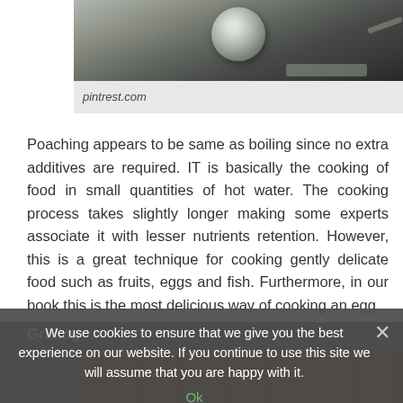[Figure (photo): A pot of boiling water on a stove with an egg being poached inside]
pintrest.com
Poaching appears to be same as boiling since no extra additives are required. IT is basically the cooking of food in small quantities of hot water. The cooking process takes slightly longer making some experts associate it with lesser nutrients retention. However, this is a great technique for cooking gently delicate food such as fruits, eggs and fish. Furthermore, in our book this is the most delicious way of cooking an egg.
Grilling
[Figure (photo): Grilled sausages or meat on a grill]
We use cookies to ensure that we give you the best experience on our website. If you continue to use this site we will assume that you are happy with it.
Ok